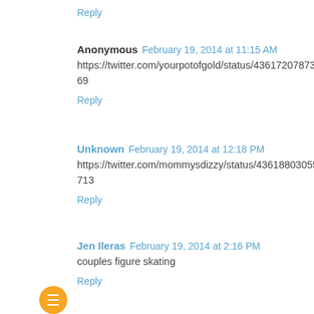Reply
Anonymous  February 19, 2014 at 11:15 AM
https://twitter.com/yourpotofgold/status/436172078736109569
Reply
Unknown  February 19, 2014 at 12:18 PM
https://twitter.com/mommysdizzy/status/436188030559219713
Reply
Jen Ileras  February 19, 2014 at 2:16 PM
couples figure skating
Reply